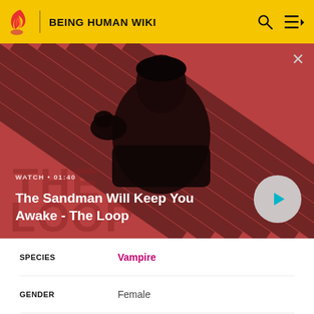BEING HUMAN WIKI
[Figure (screenshot): Video thumbnail showing a dark-clad figure with a bird on their shoulder against a red diagonal striped background. Title: The Sandman Will Keep You Awake - The Loop. WATCH • 01:40]
| Field | Value |
| --- | --- |
| SPECIES | Vampire |
| GENDER | Female |
| HAIR COLOUR | Black |